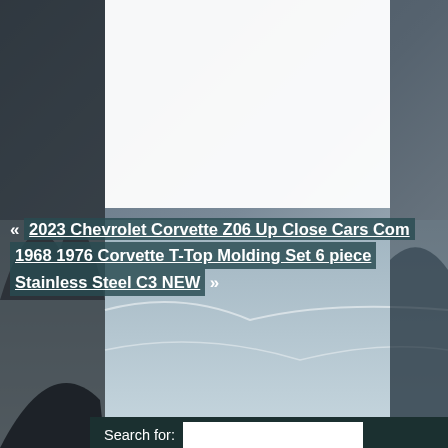[Figure (photo): Rocky coastal scene with ocean waves and cliffs in the background]
« 2023 Chevrolet Corvette Z06 Up Close Cars Com 1968 1976 Corvette T-Top Molding Set 6 piece Stainless Steel C3 NEW »
Search for: [input] Search
Recent Posts
GM CORVETTE C6 Rear Rim Wheel Chrome 19×10 5 Spoke 2006 2008 #9594348
2021 Chevrolet Corvette C8 Z51 Wheels M520R Gunmetal Metallic 5×120 lugs
Our New Corvette C6 Z06 Build Best Bang For